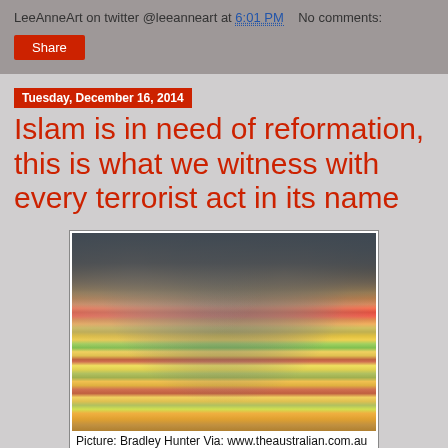LeeAnneArt on twitter @leeanneart at 6:01 PM   No comments:
Share
Tuesday, December 16, 2014
Islam is in need of reformation, this is what we witness with every terrorist act in its name
[Figure (photo): Large crowd of people gathered around a memorial covered in colorful flowers, tributes laid on the ground. Photo credit: Bradley Hunter Via: www.theaustralian.com.au]
Picture: Bradley Hunter Via: www.theaustralian.com.au